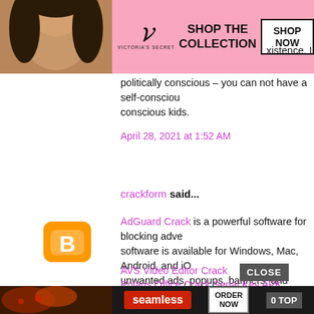[Figure (screenshot): Victoria's Secret advertisement banner with logo, 'SHOP THE COLLECTION' text, and 'SHOP NOW' button on pink background]
politically conscious – you can not have a self-conscious kids.
April 28, 2021 at 1:52 AM
crackform said...
AdGuard Crack is a powerful software for blocking adve... software is available for Windows, Mac, Android, and iO... unwanted ads, popups, banners, and tracking. This soft... blockers available on the market.
AVS Video Editor Crack
Polaris Office Crack Serial Key APK
DisplayFusion Crack
May 1, 2021 at 3:17 AM
[Figure (screenshot): Seamless food delivery advertisement with pizza image, 'seamless' brand button, 'ORDER NOW' button, and '0 TOP' text on dark background]